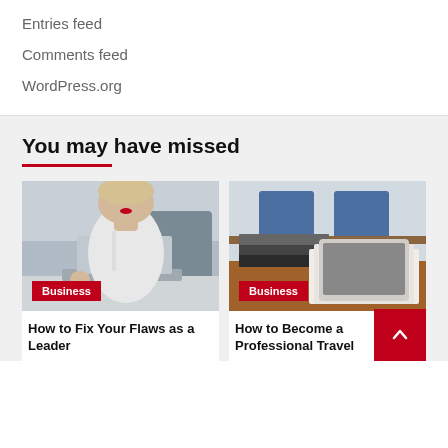Entries feed
Comments feed
WordPress.org
You may have missed
[Figure (photo): Woman in white shirt working on a laptop at a desk, blurred background. Business category badge overlaid at bottom left.]
[Figure (photo): Stack of books and a tablet on a wooden desk with blue chairs in background. Business category badge overlaid at bottom left.]
How to Fix Your Flaws as a Leader
How to Become a Professional Travel